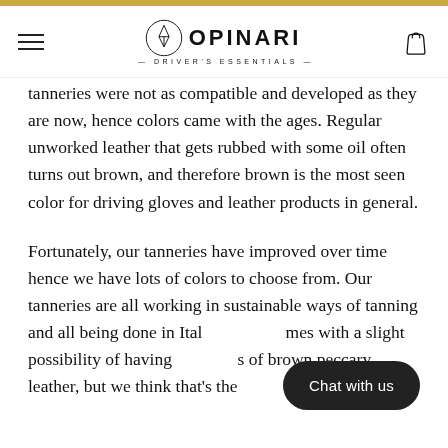OPINARI — DRIVER'S ESSENTIALS
tanneries were not as compatible and developed as they are now, hence colors came with the ages. Regular unworked leather that gets rubbed with some oil often turns out brown, and therefore brown is the most seen color for driving gloves and leather products in general.
Fortunately, our tanneries have improved over time hence we have lots of colors to choose from. Our tanneries are all working in sustainable ways of tanning and all being done in Italy … comes with a slight possibility of having … s of brown peccary leather, but we think that's the